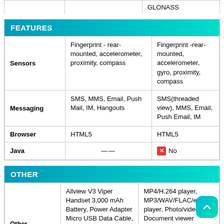|  |  | GLONASS |
| --- | --- | --- |
| FEATURES |  |  |
| --- | --- | --- |
| Sensors | Fingerprint - rear-mounted, accelerometer, proximity, compass | Fingerprint -rear-mounted, accelerometer, gyro, proximity, compass |
| Messaging | SMS, MMS, Email, Push Mail, IM, Hangouts | SMS(threaded view), MMS, Email, Push Email, IM |
| Browser | HTML5 | HTML5 |
| Java | — | No |
| OTHER |  |  |
| --- | --- | --- |
| Other Features | Allview V3 Viper Handset 3,000 mAh Battery, Power Adapter Micro USB Data Cable, Screen Protector Headset Sim Removal Tool Protection, Cover Flyer Bitdefender Warranty Card User | MP4/H.264 player, MP3/WAV/FLAC/eAAC+ player, Photo/video Document viewer |